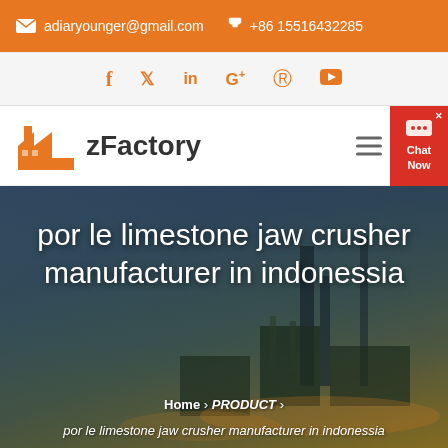adiaryounger@gmail.com   +86 15516432285
[Figure (screenshot): Social media icons: Facebook, Twitter, LinkedIn, Google+, Pinterest, YouTube]
[Figure (logo): zFactory logo with orange factory icon]
por le limestone jaw crusher manufacturer in indonessia
Home > PRODUCT > por le limestone jaw crusher manufacturer in indonessia